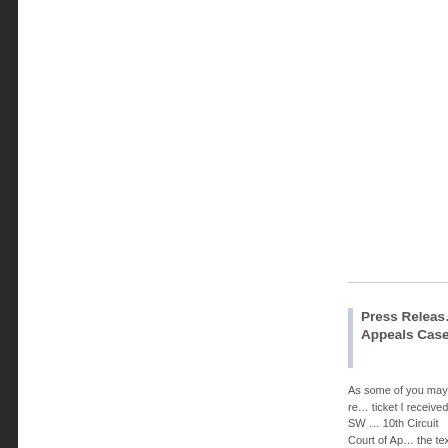Press Release – Appeals Case
As some of you may re... ticket I received in SW ... 10th Circuit Court of Ap... the text.